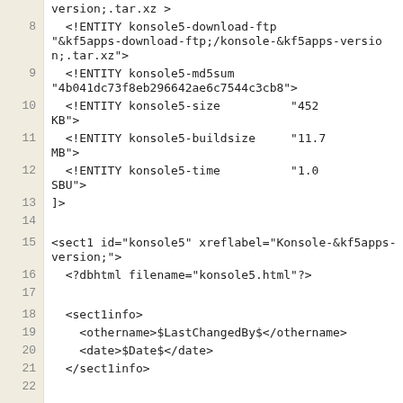Code listing showing XML/DocBook source lines 8-23+, including ENTITY declarations and sect1 markup for konsole5.